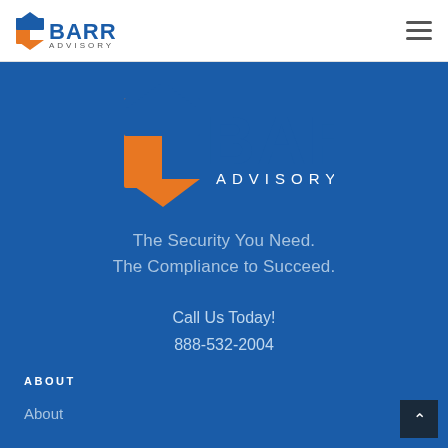BARR ADVISORY [logo] [hamburger menu]
[Figure (logo): BARR Advisory logo with orange and blue cross/arrow icon and BARR in bold blue letters with ADVISORY in smaller caps]
The Security You Need.
The Compliance to Succeed.
Call Us Today!
888-532-2004
ABOUT
About